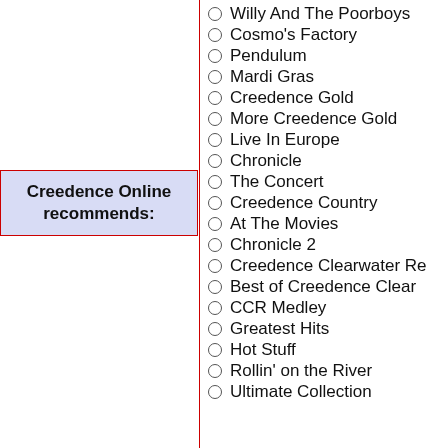Creedence Online recommends:
Green River
Willy And The Poorboys
Cosmo's Factory
Pendulum
Mardi Gras
Creedence Gold
More Creedence Gold
Live In Europe
Chronicle
The Concert
Creedence Country
At The Movies
Chronicle 2
Creedence Clearwater Re…
Best of Creedence Clear…
CCR Medley
Greatest Hits
Hot Stuff
Rollin' on the River
Ultimate Collection